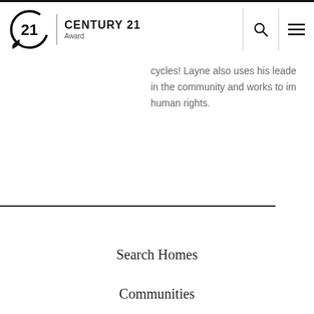CENTURY 21 Award
cycles! Layne also uses his leadership in the community and works to improve human rights.
Search Homes
Communities